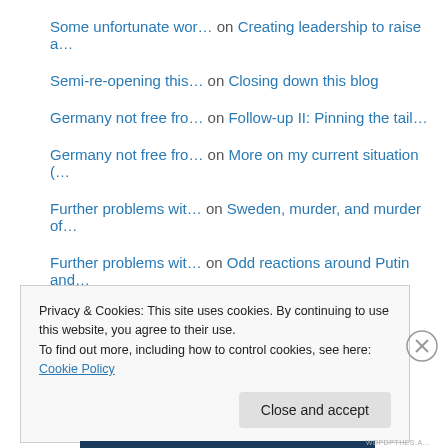Some unfortunate wor… on Creating leadership to raise a…
Semi-re-opening this… on Closing down this blog
Germany not free fro… on Follow-up II: Pinning the tail…
Germany not free fro… on More on my current situation (…
Further problems wit… on Sweden, murder, and murder of…
Further problems wit… on Odd reactions around Putin and…
Privacy & Cookies: This site uses cookies. By continuing to use this website, you agree to their use.
To find out more, including how to control cookies, see here: Cookie Policy